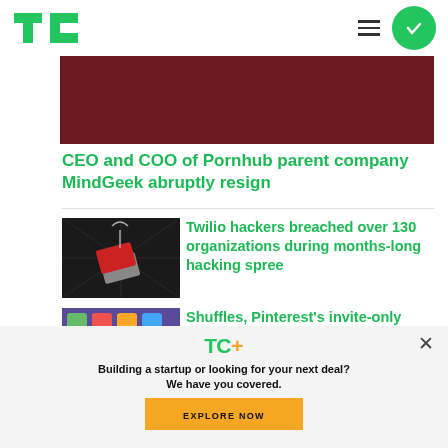TechCrunch - TC logo, hamburger menu, green circle button
[Figure (photo): Dark red/maroon colored hero image banner for article about Pornhub parent company MindGeek]
CEO and COO of Pornhub parent company MindGeek abruptly resign
[Figure (photo): Dark illustration showing a red card being fished by a hook on grey background representing hacking/phishing]
Twilio hackers breached over 130 organizations during months-long hacking spree
[Figure (photo): Colorful thumbnail image for Pinterest Shuffles article]
Shuffles, Pinterest's invite-only
[Figure (other): TC+ promotional modal overlay with logo, headline and Explore Now button]
Building a startup or looking for your next deal? We have you covered.